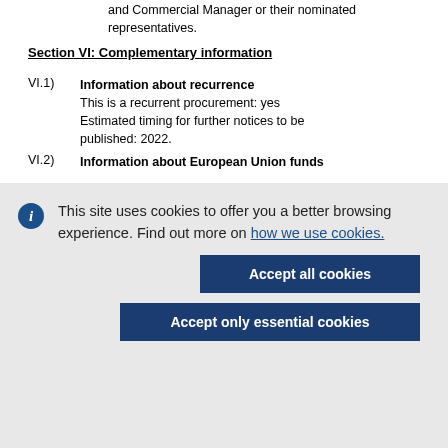and Commercial Manager or their nominated representatives.
Section VI: Complementary information
VI.1) Information about recurrence
This is a recurrent procurement: yes
Estimated timing for further notices to be published: 2022.
VI.2) Information about European Union funds
This site uses cookies to offer you a better browsing experience. Find out more on how we use cookies.
Accept all cookies
Accept only essential cookies